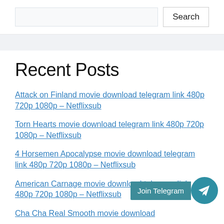Search
Recent Posts
Attack on Finland movie download telegram link 480p 720p 1080p – Netflixsub
Torn Hearts movie download telegram link 480p 720p 1080p – Netflixsub
4 Horsemen Apocalypse movie download telegram link 480p 720p 1080p – Netflixsub
American Carnage movie download telegram link 480p 720p 1080p – Netflixsub
Cha Cha Real Smooth movie download
[Figure (other): Join Telegram button with Telegram logo icon circle]